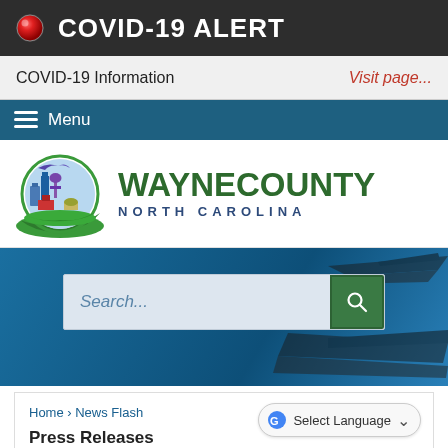COVID-19 ALERT
COVID-19 Information    Visit page...
Menu
[Figure (logo): Wayne County North Carolina government logo showing circle with city buildings, water tower, and bird, with green swoosh]
[Figure (screenshot): Search bar on blue hero background with jet aircraft silhouette in background]
Home › News Flash
Press Releases
Select Language